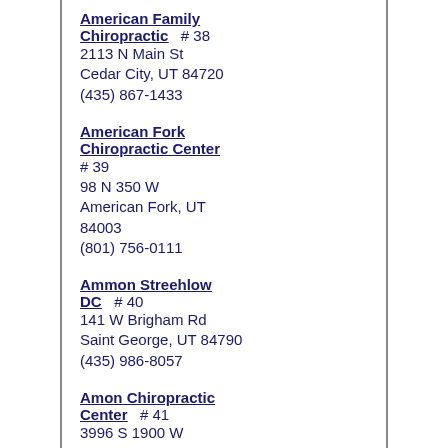American Family Chiropractic  # 38
2113 N Main St
Cedar City, UT 84720
(435) 867-1433
American Fork Chiropractic Center
# 39
98 N 350 W
American Fork, UT 84003
(801) 756-0111
Ammon Streehlow DC  # 40
141 W Brigham Rd
Saint George, UT 84790
(435) 986-8057
Amon Chiropractic Center  # 41
3996 S 1900 W
Roy, UT 84067
(801) 731-2200
Andersen Chiropractic  # 42
380 E Main St